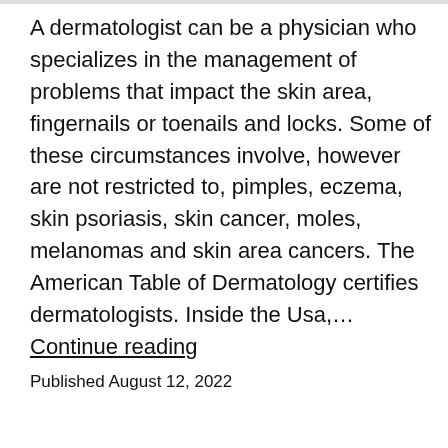A dermatologist can be a physician who specializes in the management of problems that impact the skin area, fingernails or toenails and locks. Some of these circumstances involve, however are not restricted to, pimples, eczema, skin psoriasis, skin cancer, moles, melanomas and skin area cancers. The American Table of Dermatology certifies dermatologists. Inside the Usa,… Continue reading
Published August 12, 2022